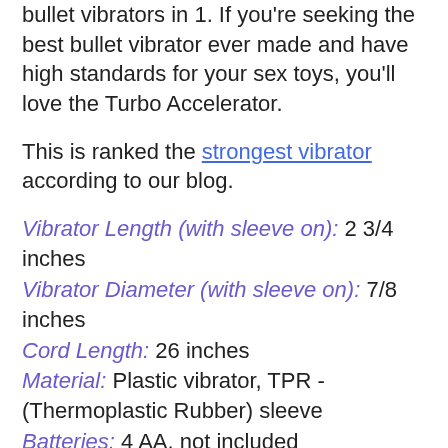bullet vibrators in 1. If you're seeking the best bullet vibrator ever made and have high standards for your sex toys, you'll love the Turbo Accelerator.
This is ranked the strongest vibrator according to our blog.
Vibrator Length (with sleeve on): 2 3/4 inches
Vibrator Diameter (with sleeve on): 7/8 inches
Cord Length: 26 inches
Material: Plastic vibrator, TPR - (Thermoplastic Rubber) sleeve
Batteries: 4 AA, not included
Motor: 8 speeds
Latex Free: Yes
Phthalates Free: Yes
Waterproof: Bullet Only